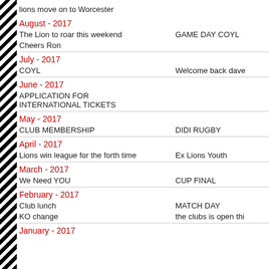lions move on to Worcester
August - 2017
The Lion to roar this weekend    GAME DAY COYL
Cheers Ron
July - 2017
COYL    Welcome back dave
June - 2017
APPLICATION FOR INTERNATIONAL TICKETS
May - 2017
CLUB MEMBERSHIP    DIDI RUGBY
April - 2017
Lions win league for the forth time    Ex Lions Youth
March - 2017
We Need YOU    CUP FINAL
February - 2017
Club lunch    MATCH DAY
KO change    the clubs is open thi
January - 2017